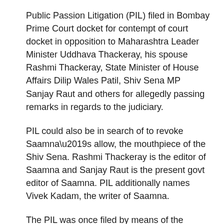Public Passion Litigation (PIL) filed in Bombay Prime Court docket for contempt of court docket in opposition to Maharashtra Leader Minister Uddhava Thackeray, his spouse Rashmi Thackeray, State Minister of House Affairs Dilip Wales Patil, Shiv Sena MP Sanjay Raut and others for allegedly passing remarks in regards to the judiciary.
PIL could also be in search of to revoke Saamna’s allow, the mouthpiece of the Shiv Sena. Rashmi Thackeray is the editor of Saamna and Sanjay Raut is the present govt editor of Saamna. PIL additionally names Vivek Kadam, the writer of Saamna.
The PIL was once filed by means of the